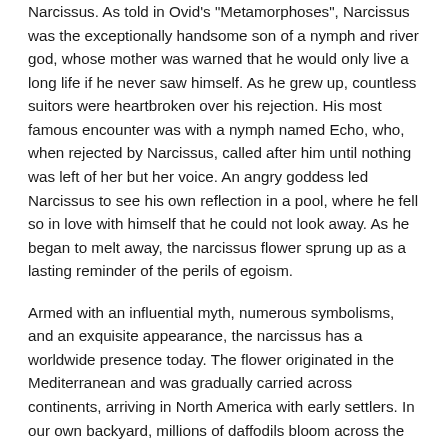Narcissus. As told in Ovid's "Metamorphoses", Narcissus was the exceptionally handsome son of a nymph and river god, whose mother was warned that he would only live a long life if he never saw himself. As he grew up, countless suitors were heartbroken over his rejection. His most famous encounter was with a nymph named Echo, who, when rejected by Narcissus, called after him until nothing was left of her but her voice. An angry goddess led Narcissus to see his own reflection in a pool, where he fell so in love with himself that he could not look away. As he began to melt away, the narcissus flower sprung up as a lasting reminder of the perils of egoism.
Armed with an influential myth, numerous symbolisms, and an exquisite appearance, the narcissus has a worldwide presence today. The flower originated in the Mediterranean and was gradually carried across continents, arriving in North America with early settlers. In our own backyard, millions of daffodils bloom across the Cape and Islands each year, closing out the winter and adding to the quaint, mystical nature of our seaside grounds.